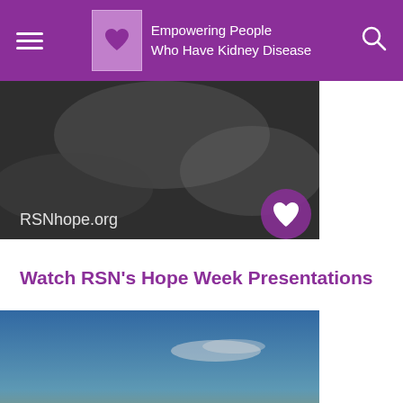Empowering People Who Have Kidney Disease
[Figure (photo): Blurred photo of a person with RSNhope.org watermark and a purple heart logo in lower right corner]
Watch RSN's Hope Week Presentations
[Figure (photo): Renal Support Network's Hope Week Five-Day Educational Conference promotional image with ocean/beach background]